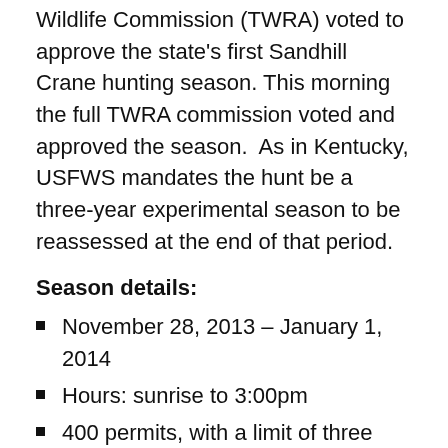Wildlife Commission (TWRA) voted to approve the state's first Sandhill Crane hunting season. This morning the full TWRA commission voted and approved the season.  As in Kentucky, USFWS mandates the hunt be a three-year experimental season to be reassessed at the end of that period.
Season details:
November 28, 2013 – January 1, 2014
Hours: sunrise to 3:00pm
400 permits, with a limit of three birds per permit (a drawing will be held October 19 in Birchwood)
All permit holders will have to pass a crane identification test before the permits become valid
Hunt zone is southeastern corner of TN– east of Hwy 56 and south of I-40 – area surrounding the  Hiwassee Refuge